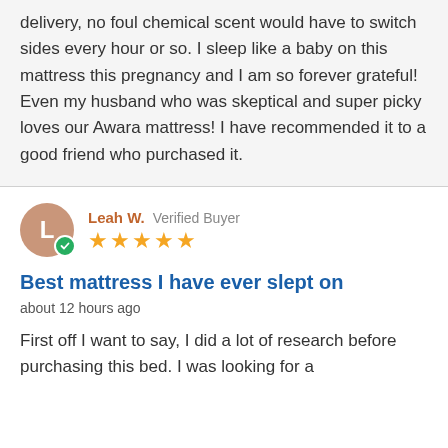delivery, no foul chemical scent would have to switch sides every hour or so. I sleep like a baby on this mattress this pregnancy and I am so forever grateful! Even my husband who was skeptical and super picky loves our Awara mattress! I have recommended it to a good friend who purchased it.
Leah W. Verified Buyer ★★★★★
Best mattress I have ever slept on
about 12 hours ago
First off I want to say, I did a lot of research before purchasing this bed. I was looking for a